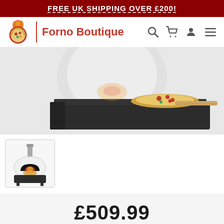FREE UK SHIPPING OVER £200!
[Figure (logo): Forno Boutique logo with pizza icon and brand name]
[Figure (photo): Main product photo of pizza oven with pizza being placed on stone]
[Figure (photo): Thumbnail image of white dome pizza oven with flames inside]
£509.99